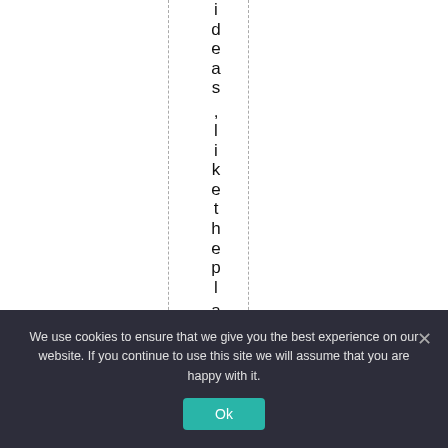ideas, like the plant
We use cookies to ensure that we give you the best experience on our website. If you continue to use this site we will assume that you are happy with it.